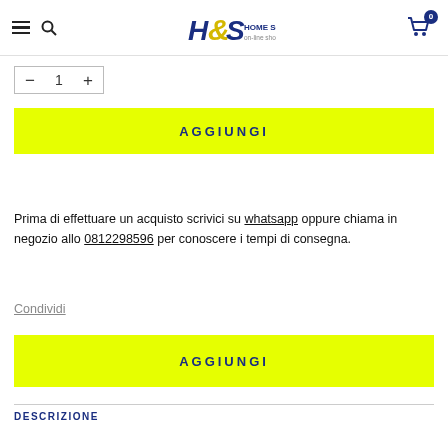H&S Home Solution on-line shop
[Figure (screenshot): Quantity selector with minus, 1, and plus controls in a bordered box]
AGGIUNGI
Prima di effettuare un acquisto scrivici su whatsapp oppure chiama in negozio allo 0812298596 per conoscere i tempi di consegna.
Condividi
AGGIUNGI
DESCRIZIONE